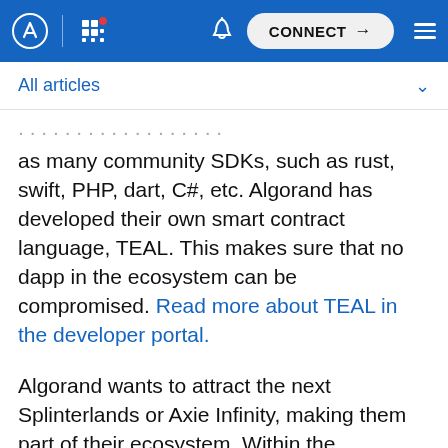CONNECT
All articles
as many community SDKs, such as rust, swift, PHP, dart, C#, etc. Algorand has developed their own smart contract language, TEAL. This makes sure that no dapp in the ecosystem can be compromised. Read more about TEAL in the developer portal.
Algorand wants to attract the next Splinterlands or Axie Infinity, making them part of their ecosystem. Within the blockchain space we’re seeing more play-to-earn games on multiple blockchain solutions, and Algorand wants to be part of this new gaming revolution. The hackathon starts on November 1st